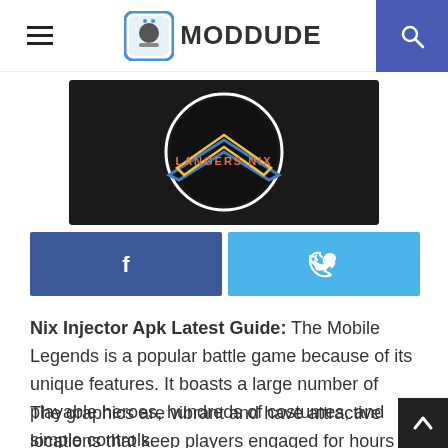MODDUDE
[Figure (photo): App icon/screenshot on dark background showing 'LANGERS NIX' text]
[Figure (infographic): Social share buttons: Facebook (blue) and Twitter (light blue) with icons]
Nix Injector Apk Latest Guide: The Mobile Legends is a popular battle game because of its unique features. It boasts a large number of playable heroes, hundreds of costumes, and simple controls.
The graphics are vibrant and have attractive locations that keep players engaged for hours